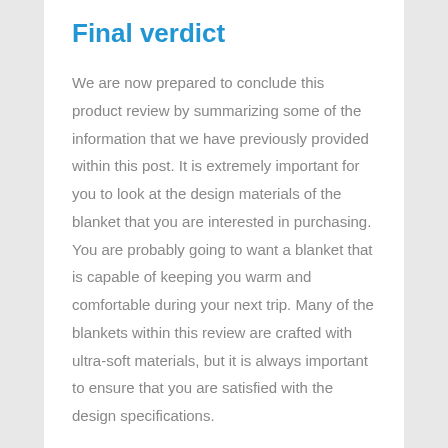Final verdict
We are now prepared to conclude this product review by summarizing some of the information that we have previously provided within this post. It is extremely important for you to look at the design materials of the blanket that you are interested in purchasing. You are probably going to want a blanket that is capable of keeping you warm and comfortable during your next trip. Many of the blankets within this review are crafted with ultra-soft materials, but it is always important to ensure that you are satisfied with the design specifications.